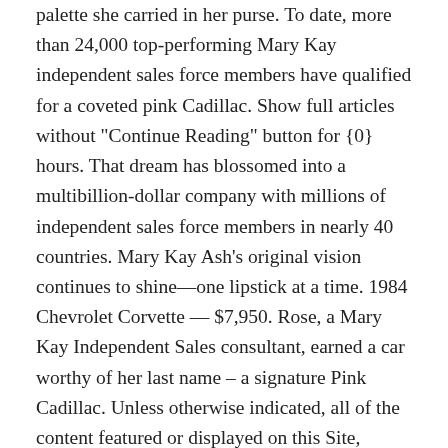palette she carried in her purse. To date, more than 24,000 top-performing Mary Kay independent sales force members have qualified for a coveted pink Cadillac. Show full articles without "Continue Reading" button for {0} hours. That dream has blossomed into a multibillion-dollar company with millions of independent sales force members in nearly 40 countries. Mary Kay Ash's original vision continues to shine—one lipstick at a time. 1984 Chevrolet Corvette — $7,950. Rose, a Mary Kay Independent Sales consultant, earned a car worthy of her last name – a signature Pink Cadillac. Unless otherwise indicated, all of the content featured or displayed on this Site, including but not limited to, text, graphics, data, photographic images, moving images, sound, illustrations, computer code, trade marks and logos and the selection and arrangement thereof (referred to in this section as the "Content") is owned by MaryKay, its licensors or its third-party image partners and all rights in relation to the Content